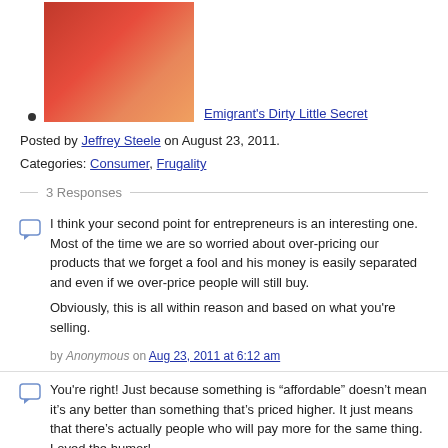[Figure (illustration): Red/orange gradient textured square image used as a thumbnail for a blog post link]
Emigrant's Dirty Little Secret
Posted by Jeffrey Steele on August 23, 2011.
Categories: Consumer, Frugality
3 Responses
I think your second point for entrepreneurs is an interesting one. Most of the time we are so worried about over-pricing our products that we forget a fool and his money is easily separated and even if we over-price people will still buy.

Obviously, this is all within reason and based on what you're selling.

by Anonymous on Aug 23, 2011 at 6:12 am
You're right! Just because something is “affordable” doesn't mean it's any better than something that's priced higher. It just means that there's actually people who will pay more for the same thing. Loved the humor!

by Anonymous on Aug 23, 2011 at 12:32 pm